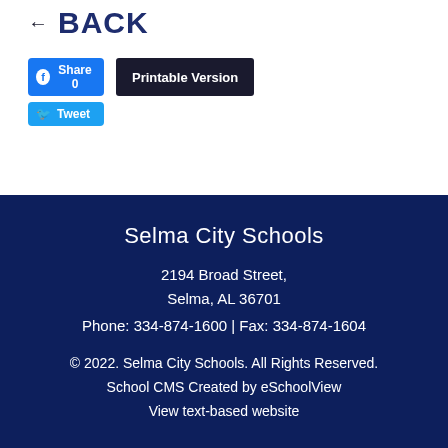← BACK
Share 0
Printable Version
Tweet
Selma City Schools
2194 Broad Street,
Selma, AL 36701
Phone: 334-874-1600 | Fax: 334-874-1604
© 2022. Selma City Schools. All Rights Reserved.
School CMS Created by eSchoolView
View text-based website